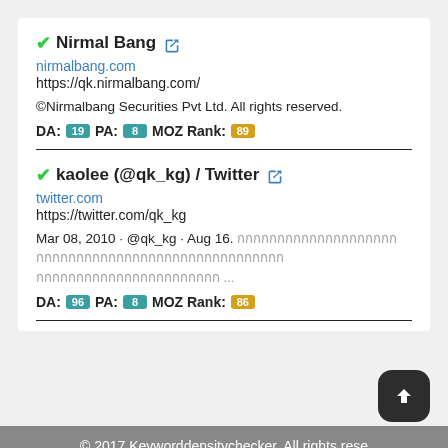Nirmal Bang
nirmalbang.com
https://qk.nirmalbang.com/
©Nirmalbang Securities Pvt Ltd. All rights reserved.
DA: 19  PA: 8  MOZ Rank: 89
kaolee (@qk_kg) / Twitter
twitter.com
https://twitter.com/qk_kg
Mar 08, 2010 · @qk_kg · Aug 16. [Thai text] ...
DA: 96  PA: 8  MOZ Rank: 86
© 2017 Keyworddensitychecker. All rights rese